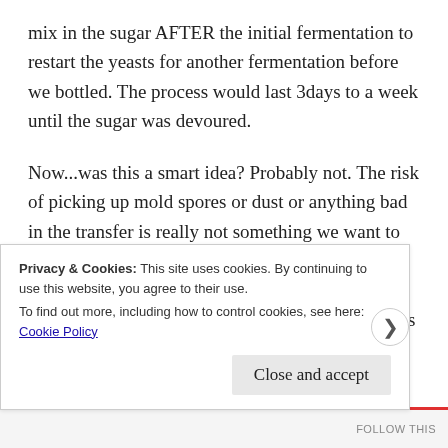mix in the sugar AFTER the initial fermentation to restart the yeasts for another fermentation before we bottled. The process would last 3days to a week until the sugar was devoured.
Now...was this a smart idea? Probably not. The risk of picking up mold spores or dust or anything bad in the transfer is really not something we want to do. However, spending 6 months on a beer that ends up tasting like something they sell in Oklahoma where they limit the beer abv to 3.9% is not something we'd
Privacy & Cookies: This site uses cookies. By continuing to use this website, you agree to their use.
To find out more, including how to control cookies, see here: Cookie Policy
Close and accept